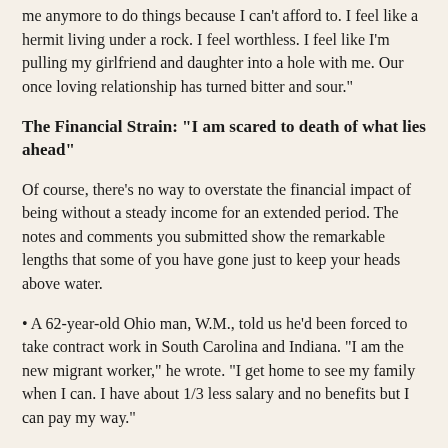me anymore to do things because I can't afford to. I feel like a hermit living under a rock. I feel worthless. I feel like I'm pulling my girlfriend and daughter into a hole with me. Our once loving relationship has turned bitter and sour."
The Financial Strain: "I am scared to death of what lies ahead"
Of course, there's no way to overstate the financial impact of being without a steady income for an extended period. The notes and comments you submitted show the remarkable lengths that some of you have gone just to keep your heads above water.
A 62-year-old Ohio man, W.M., told us he'd been forced to take contract work in South Carolina and Indiana. "I am the new migrant worker," he wrote. "I get home to see my family when I can. I have about 1/3 less salary and no benefits but I can pay my way."
Some readers said they were selling their possessions to support themselves. "I have also sold my clothing, many of our belongings, and baby items on Craigslist and in consignment shops." M.N.